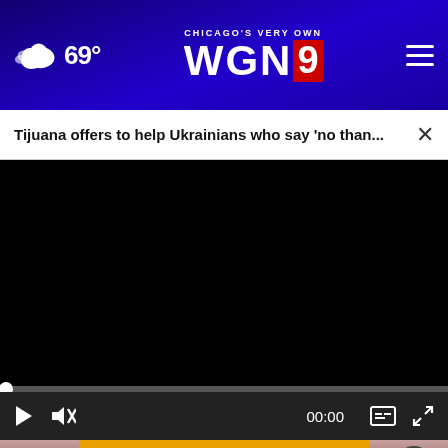CHICAGO'S VERY OWN WGN9 | 69°
Tijuana offers to help Ukrainians who say 'no than...
[Figure (screenshot): Black video player area — blank/loading state]
00:00
[Figure (photo): Close-up photo of skin/face with advertisement overlay: BUZZED AND DOING SOMETHING TO MAKE YOURSELF OKAY TO DRIVE?]